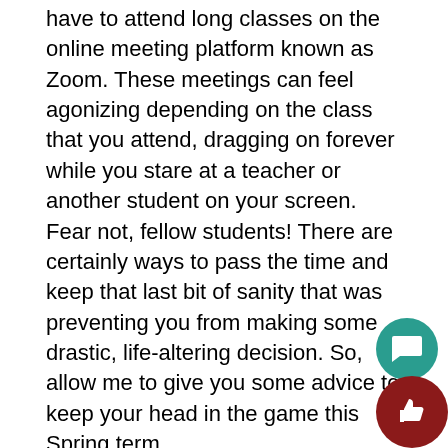have to attend long classes on the online meeting platform known as Zoom. These meetings can feel agonizing depending on the class that you attend, dragging on forever while you stare at a teacher or another student on your screen. Fear not, fellow students! There are certainly ways to pass the time and keep that last bit of sanity that was preventing you from making some drastic, life-altering decision. So, allow me to give you some advice to keep your head in the game this Spring term.
Most Zoom classes feature a lecture component; your teacher will provide you information that is useful for the class. You should probably listen to this information but if we're honest here none of us have an attention span large enough to sit still in our own homes and listen to a teacher talk about the aerodynamics of a cow or whatever. Now, in the past, Zoom pretty much locked